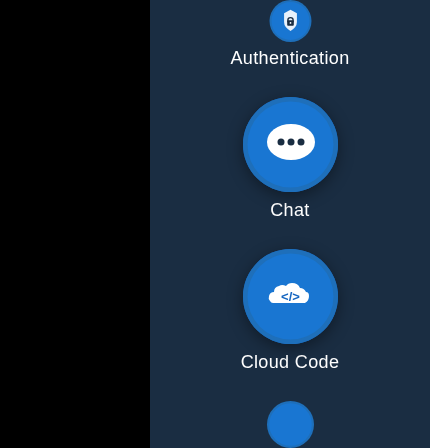[Figure (illustration): Partial blue circle icon at top (Authentication icon, cropped)]
Authentication
[Figure (illustration): Blue circle icon with white speech bubble containing three dots, representing Chat]
Chat
[Figure (illustration): Blue circle icon with white cloud containing angle brackets (</>) representing Cloud Code]
Cloud Code
[Figure (illustration): Partial blue circle icon at bottom, cropped]